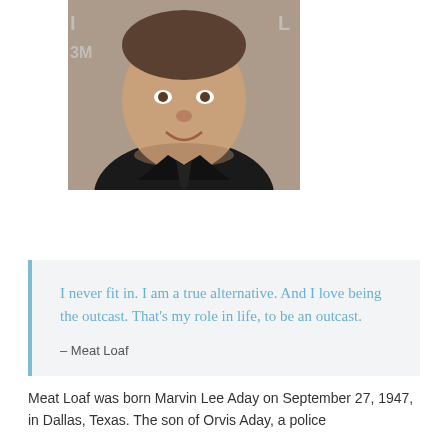[Figure (photo): Headshot photo of Meat Loaf wearing a dark shirt, partially cropped, with partial text visible in background]
I never fit in. I am a true alternative. And I love being the outcast. That's my role in life, to be an outcast.
– Meat Loaf
Meat Loaf was born Marvin Lee Aday on September 27, 1947, in Dallas, Texas. The son of Orvis Aday, a police